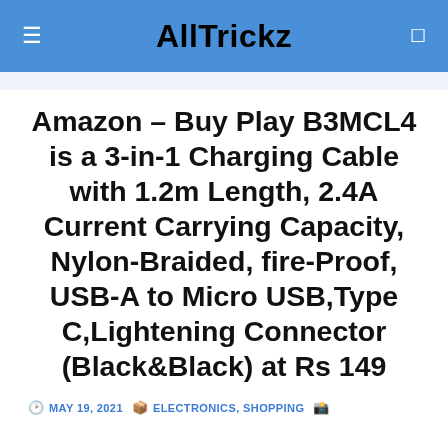AllTrickz
Amazon – Buy Play B3MCL4 is a 3-in-1 Charging Cable with 1.2m Length, 2.4A Current Carrying Capacity, Nylon-Braided, fire-Proof, USB-A to Micro USB,Type C,Lightening Connector (Black&Black) at Rs 149
MAY 19, 2021  ELECTRONICS, SHOPPING  WATCH